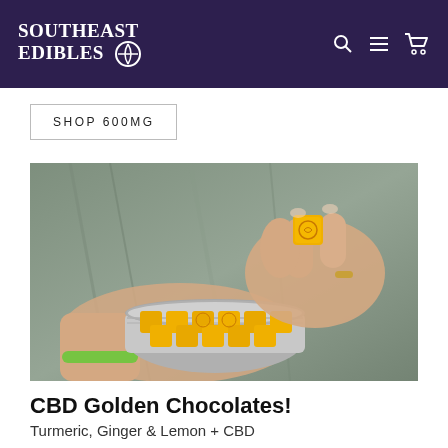SOUTHEAST EDIBLES
SHOP 600MG
[Figure (photo): Hands holding an open metal tin containing yellow cube-shaped CBD chocolates. One chocolate cube is being held up between two fingers, showing a branded imprint on top.]
CBD Golden Chocolates!
Turmeric, Ginger & Lemon + CBD